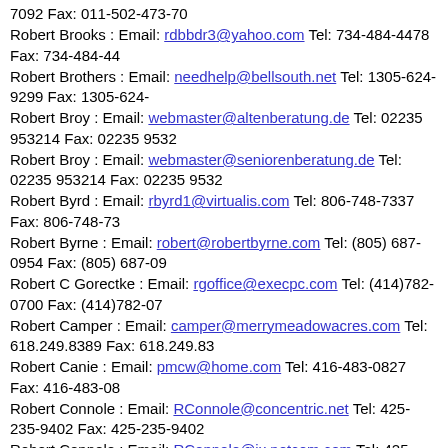7092 Fax: 011-502-473-70
Robert Brooks : Email: rdbbdr3@yahoo.com Tel: 734-484-4478 Fax: 734-484-44
Robert Brothers : Email: needhelp@bellsouth.net Tel: 1305-624-9299 Fax: 1305-624-
Robert Broy : Email: webmaster@altenberatung.de Tel: 02235 953214 Fax: 02235 9532
Robert Broy : Email: webmaster@seniorenberatung.de Tel: 02235 953214 Fax: 02235 9532
Robert Byrd : Email: rbyrd1@virtualis.com Tel: 806-748-7337 Fax: 806-748-73
Robert Byrne : Email: robert@robertbyrne.com Tel: (805) 687-0954 Fax: (805) 687-09
Robert C Gorectke : Email: rgoffice@execpc.com Tel: (414)782-0700 Fax: (414)782-07
Robert Camper : Email: camper@merrymeadowacres.com Tel: 618.249.8389 Fax: 618.249.83
Robert Canie : Email: pmcw@home.com Tel: 416-483-0827 Fax: 416-483-08
Robert Connole : Email: RConnole@concentric.net Tel: 425-235-9402 Fax: 425-235-9402
Robert Connole : Email: RConnole@ix.netcom.com Tel: 425-235-9402 Fax: 425-235-94
Robert Connole : Email: support@marketingservice.net Tel: 425-235-9402 Fax: 425-235-94